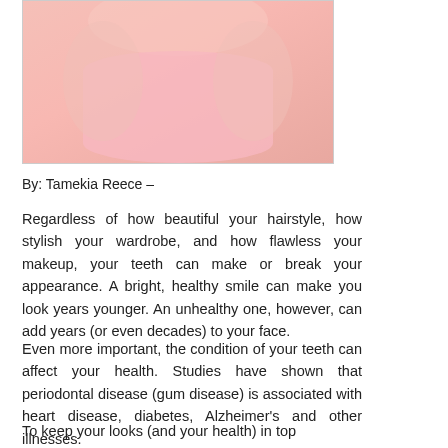[Figure (photo): Close-up photo of a person wearing a pink top, with skin tones visible — likely related to a dental/beauty health article]
By: Tamekia Reece –
Regardless of how beautiful your hairstyle, how stylish your wardrobe, and how flawless your makeup, your teeth can make or break your appearance. A bright, healthy smile can make you look years younger. An unhealthy one, however, can add years (or even decades) to your face.
Even more important, the condition of your teeth can affect your health. Studies have shown that periodontal disease (gum disease) is associated with heart disease, diabetes, Alzheimer's and other illnesses.
To keep your looks (and your health) in top shape, check out these top no-nonsense dental